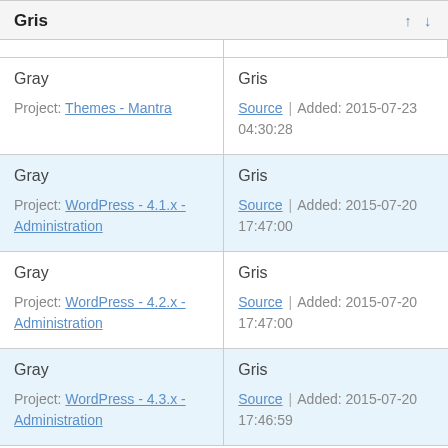|  |  |
| --- | --- |
| Gray
Project: Themes - Mantra | Gris
Source | Added: 2015-07-23 04:30:28 |
| Gray
Project: WordPress - 4.1.x - Administration | Gris
Source | Added: 2015-07-20 17:47:00 |
| Gray
Project: WordPress - 4.2.x - Administration | Gris
Source | Added: 2015-07-20 17:47:00 |
| Gray
Project: WordPress - 4.3.x - Administration | Gris
Source | Added: 2015-07-20 17:46:59 |